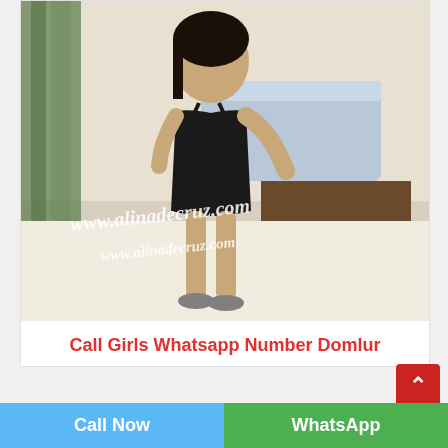[Figure (photo): A woman in a black dress posing indoors. Watermark text 'www.alinadecruz.com' overlaid on the photo.]
Call Girls Whatsapp Number Domlur
[Figure (photo): Partial view of another photo at the bottom of the page (cropped).]
Call Now
WhatsApp